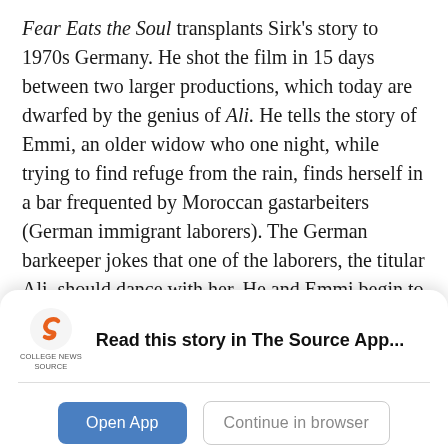Fear Eats the Soul transplants Sirk's story to 1970s Germany. He shot the film in 15 days between two larger productions, which today are dwarfed by the genius of Ali. He tells the story of Emmi, an older widow who one night, while trying to find refuge from the rain, finds herself in a bar frequented by Moroccan gastarbeiters (German immigrant laborers). The German barkeeper jokes that one of the laborers, the titular Ali, should dance with her. He and Emmi begin to form a friendship, and driven by their mutual lonelines, their friendship turns to love. As is expected, they soon marry and begin to face scorn from Emmi's children and coworkers, as well as from Ali's friends.
[Figure (logo): College News Source logo — orange and black stylized 'S' icon with 'COLLEGE NEWS SOURCE' text below]
Read this story in The Source App...
Open App
Continue in browser